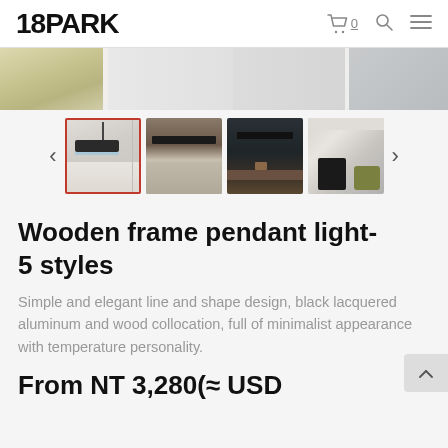18PARK
[Figure (photo): Main product image strip showing pendant light in interior setting]
[Figure (photo): Thumbnail gallery row with 4 product images: selected thumbnail shows black pendant light close-up, second shows kitchen with pendant light, third shows dining table with dark pendant, fourth shows restaurant/cafe interior with pendant light. Navigation arrows on both sides.]
Wooden frame pendant light- 5 styles
Simple and elegant line and shape design, black lacquered aluminum and wood collocation, full of minimalist appearance with temperature personality.
From NT 3,280(≈ USD